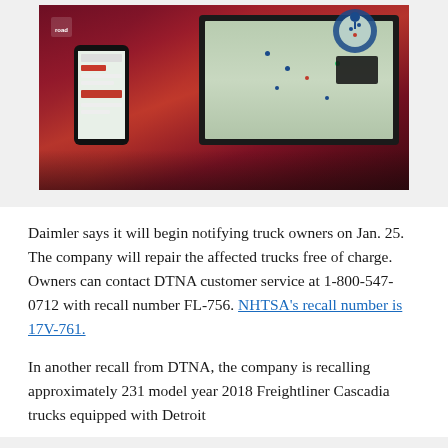[Figure (screenshot): Screenshot of a trucking/fleet management software interface shown on a laptop and mobile phone, with a map view displaying location pins. Background shows a red-tinted highway image.]
Daimler says it will begin notifying truck owners on Jan. 25. The company will repair the affected trucks free of charge. Owners can contact DTNA customer service at 1-800-547-0712 with recall number FL-756. NHTSA's recall number is 17V-761.
In another recall from DTNA, the company is recalling approximately 231 model year 2018 Freightliner Cascadia trucks equipped with Detroit